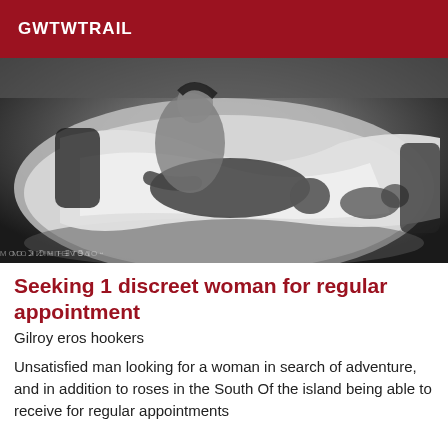GWTWTRAIL
[Figure (photo): Black and white photograph of a couple on a bed, taken from above]
Seeking 1 discreet woman for regular appointment
Gilroy eros hookers
Unsatisfied man looking for a woman in search of adventure, and in addition to roses in the South Of the island being able to receive for regular appointments